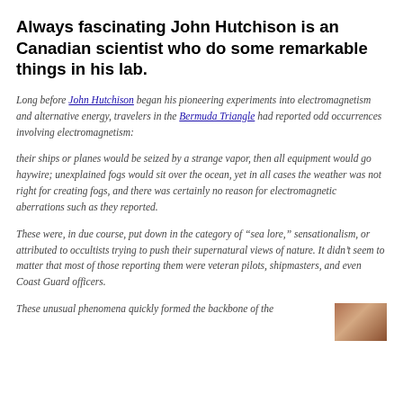Always fascinating John Hutchison is an Canadian scientist who do some remarkable things in his lab.
Long before John Hutchison began his pioneering experiments into electromagnetism and alternative energy, travelers in the Bermuda Triangle had reported odd occurrences involving electromagnetism:
their ships or planes would be seized by a strange vapor, then all equipment would go haywire; unexplained fogs would sit over the ocean, yet in all cases the weather was not right for creating fogs, and there was certainly no reason for electromagnetic aberrations such as they reported.
These were, in due course, put down in the category of “sea lore,” sensationalism, or attributed to occultists trying to push their supernatural views of nature. It didn’t seem to matter that most of those reporting them were veteran pilots, shipmasters, and even Coast Guard officers.
These unusual phenomena quickly formed the backbone of the
[Figure (photo): Partial photo of a person, visible at bottom-right corner of the page]